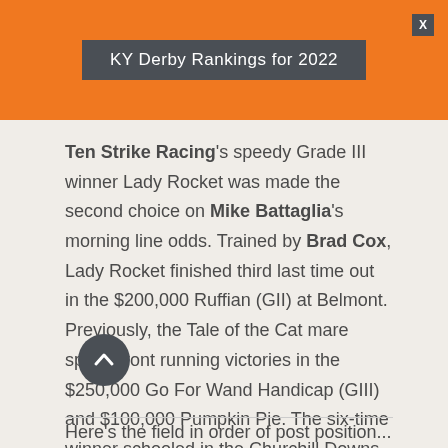KY Derby Rankings for 2022
Ten Strike Racing's speedy Grade III winner Lady Rocket was made the second choice on Mike Battaglia's morning line odds. Trained by Brad Cox, Lady Rocket finished third last time out in the $200,000 Ruffian (GII) at Belmont. Previously, the Tale of the Cat mare sports front running victories in the $250,000 Go For Wand Handicap (GIII) and $100,000 Pumpkin Pie. The six-time winner schooled in the Churchill Downs paddock Thursday and is expected to show her natural early speed, according to Cox.
Here's the field in order of post position...